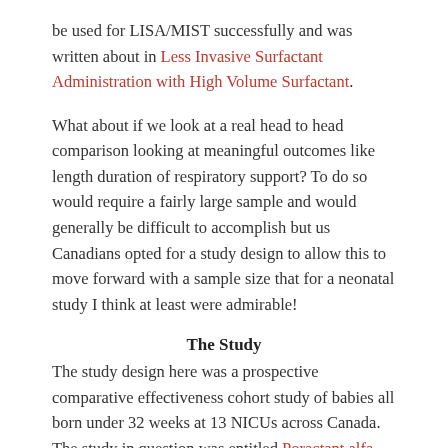be used for LISA/MIST successfully and was written about in Less Invasive Surfactant Administration with High Volume Surfactant.
What about if we look at a real head to head comparison looking at meaningful outcomes like length duration of respiratory support? To do so would require a fairly large sample and would generally be difficult to accomplish but us Canadians opted for a study design to allow this to move forward with a sample size that for a neonatal study I think at least were admirable!
The Study
The study design here was a prospective comparative effectiveness cohort study of babies all born under 32 weeks at 13 NICUs across Canada. The study in question was entitled Poractant alfa